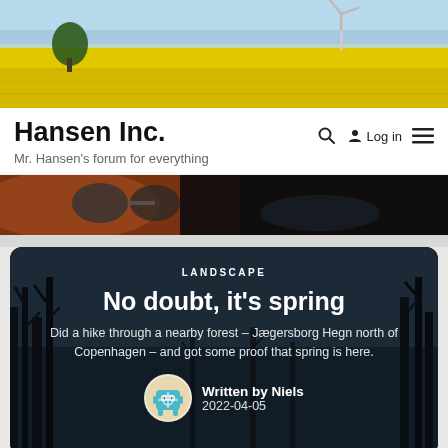[Figure (photo): Yellow rapeseed field with blue sky and a wind turbine on the right side]
Hansen Inc.
Mr. Hansen's forum for everything
[Figure (photo): Close-up of kayak sunglasses and outdoor gear with dark tones]
LANDSCAPE
No doubt, it's spring
Did a hike through a nearby forest – Jægersborg Hegn north of Copenhagen – and got some proof that spring is here.
Written by Niels
2022-04-05